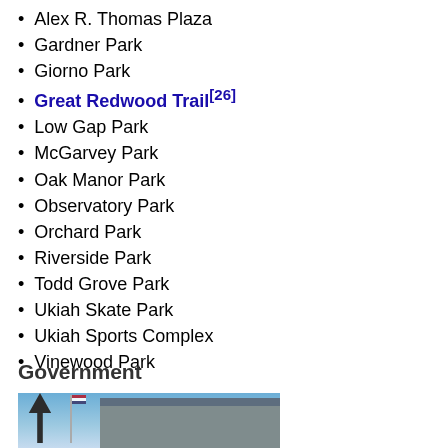Alex R. Thomas Plaza
Gardner Park
Giorno Park
Great Redwood Trail [26]
Low Gap Park
McGarvey Park
Oak Manor Park
Observatory Park
Orchard Park
Riverside Park
Todd Grove Park
Ukiah Skate Park
Ukiah Sports Complex
Vinewood Park
Government
[Figure (photo): Exterior photo of a government building with flagpole, trees, and blue sky in the background]